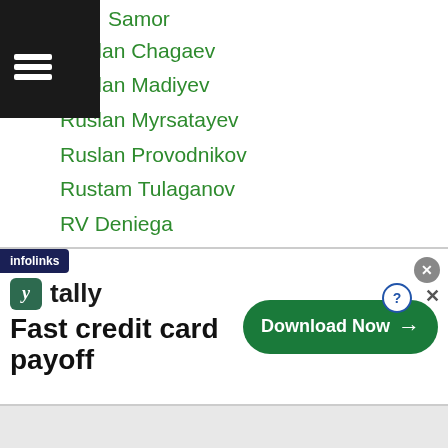…Samor
Ruslan Chagaev
Ruslan Madiyev
Ruslan Myrsatayev
Ruslan Provodnikov
Rustam Tulaganov
RV Deniega
Ryan Joshua Yamamoto
Ryan Lumacad
Ryan Rey Ponteras
Ryan Sermona
Ryo Akaho
Ryohei Arakawa
Ryohei Takahashi
…ao
[Figure (screenshot): Tally app advertisement banner: 'Fast credit card payoff' with Download Now button]